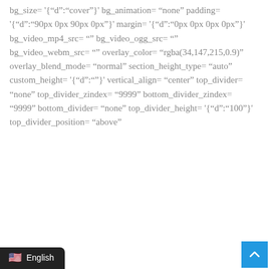bg_size= '{"d":"cover"}' bg_animation= "none" padding= '{"d":"90px 0px 90px 0px"}' margin= '{"d":"0px 0px 0px 0px"}' bg_video_mp4_src= "" bg_video_ogg_src= "" bg_video_webm_src= "" overlay_color= "rgba(34,147,215,0.9)" overlay_blend_mode= "normal" section_height_type= "auto" custom_height= '{"d":""}' vertical_align= "center" top_divider= "none" top_divider_zindex= "9999" bottom_divider_zindex= "9999" bottom_divider= "none" top_divider_height= '{"d":"100"}' top_divider_position= "above"